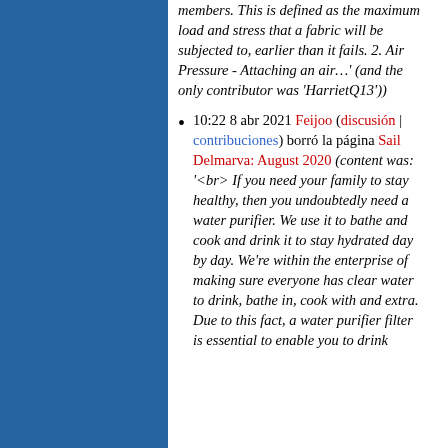members. This is defined as the maximum load and stress that a fabric will be subjected to, earlier than it fails. 2. Air Pressure - Attaching an air…' (and the only contributor was 'HarrietQ13'))
10:22 8 abr 2021 Feijoo (discusión | contribuciones) borró la página Sail Delmarva: August 2020 (content was: '<br> If you need your family to stay healthy, then you undoubtedly need a water purifier. We use it to bathe and cook and drink it to stay hydrated day by day. We're within the enterprise of making sure everyone has clear water to drink, bathe in, cook with and extra. Due to this fact, a water purifier filter is essential to enable you to drink